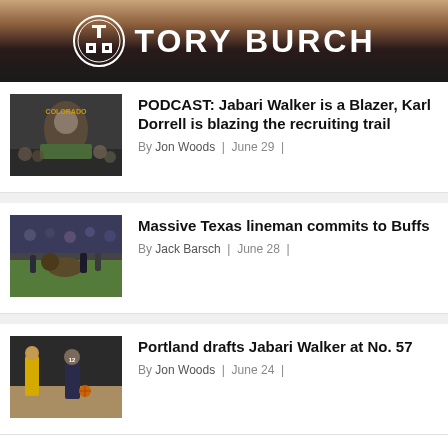[Figure (photo): Tory Burch banner with logo and white text on dark background with maroon fabric]
[Figure (photo): Basketball player in Colorado Buffs uniform celebrating with crowd]
PODCAST: Jabari Walker is a Blazer, Karl Dorrell is blazing the recruiting trail
By Jon Woods | June 29 |
[Figure (photo): Buffalo mascot running on football field with crowd in background]
Massive Texas lineman commits to Buffs
By Jack Barsch | June 28 |
[Figure (photo): Basketball player dribbling in game action]
Portland drafts Jabari Walker at No. 57
By Jon Woods | June 24 |